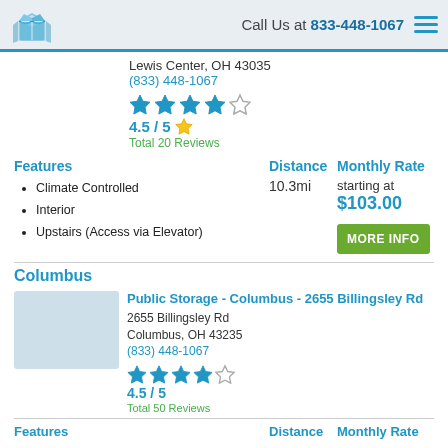Call Us at 833-448-1067
Lewis Center, OH 43035
(833) 448-1067
4.5 / 5
Total 20 Reviews
Features
Climate Controlled
Interior
Upstairs (Access via Elevator)
Distance
10.3mi
Monthly Rate
starting at
$103.00
Columbus
Public Storage - Columbus - 2655 Billingsley Rd
2655 Billingsley Rd
Columbus, OH 43235
(833) 448-1067
4.5 / 5
Total 50 Reviews
Features
Distance
Monthly Rate